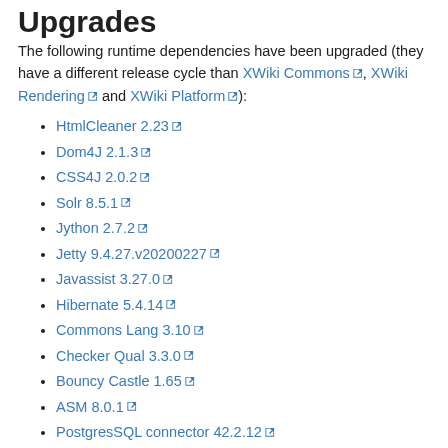Upgrades
The following runtime dependencies have been upgraded (they have a different release cycle than XWiki Commons, XWiki Rendering and XWiki Platform):
HtmlCleaner 2.23
Dom4J 2.1.3
CSS4J 2.0.2
Solr 8.5.1
Jython 2.7.2
Jetty 9.4.27.v20200227
Javassist 3.27.0
Hibernate 5.4.14
Commons Lang 3.10
Checker Qual 3.3.0
Bouncy Castle 1.65
ASM 8.0.1
PostgresSQL connector 42.2.12
Translations
The following translations have been updated:
Catalan, French, Norwegian...